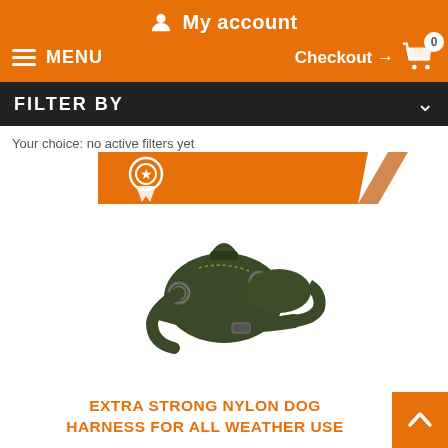My account
MENU  Checkout → 0
FILTER BY
Your choice: no active filters yet
[Figure (other): Orange award/ribbon badge banner graphic]
[Figure (photo): Extra strong nylon dog harness - dark olive/green colored dog harness with metal rings and buckles, shown on white background]
EXTRA STRONG NYLON DOG HARNESS FOR ALL WEATHER USE